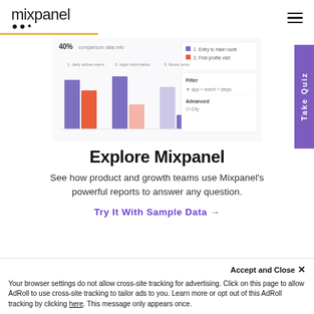[Figure (logo): Mixpanel logo with wordmark and three dots below]
[Figure (screenshot): Mixpanel dashboard screenshot showing a grouped bar chart with purple and orange/red bars, displaying 40% metric, with legend and filter panel on the right]
Explore Mixpanel
See how product and growth teams use Mixpanel's powerful reports to answer any question.
Try It With Sample Data →
Accept and Close ✕
Your browser settings do not allow cross-site tracking for advertising. Click on this page to allow AdRoll to use cross-site tracking to tailor ads to you. Learn more or opt out of this AdRoll tracking by clicking here. This message only appears once.